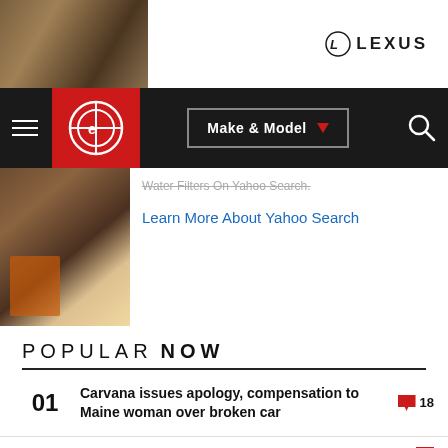[Figure (photo): Lexus advertisement banner at top of page with dark background, photo on left and white area with Lexus logo on right]
[Figure (screenshot): Car-related website navigation bar with hamburger menu, red Edmunds-style logo, Make & Model dropdown button, and search icon]
Water Filters On Yahoo Search.
Learn More About Yahoo Search
[Figure (photo): Thumbnail photo showing person with luggage or bags]
POPULAR NOW
01  Carvana issues apology, compensation to Maine woman over broken car  18